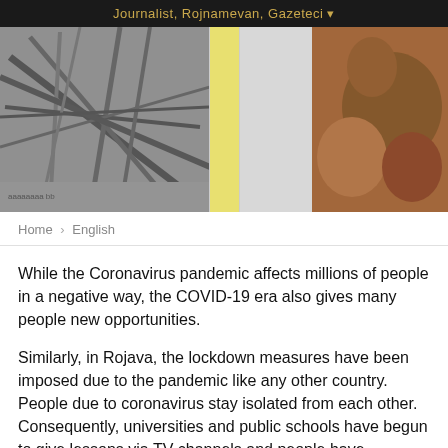Journalist, Rojnamevan, Gazeteci
[Figure (photo): Banner image with two panels: left panel shows a black-and-white image of crossed sticks or branches with text below, and a white/yellow center strip; right panel shows a brown textured image resembling a carved or weathered surface.]
Home › English
While the Coronavirus pandemic affects millions of people in a negative way, the COVID-19 era also gives many people new opportunities.
Similarly, in Rojava, the lockdown measures have been imposed due to the pandemic like any other country. People due to coronavirus stay isolated from each other. Consequently, universities and public schools have begun to give lessons via TV channels and people have alternatively launched online initiatives to access the education and Kurdish language classes.